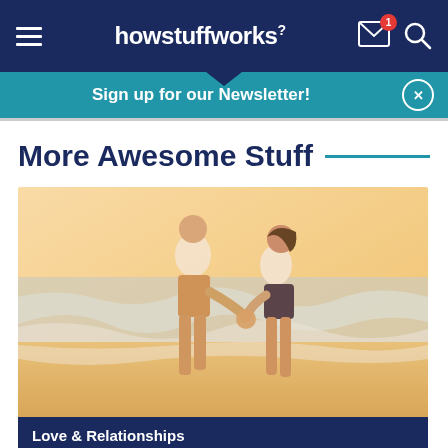howstuffworks
Sign up for our Newsletter!
More Awesome Stuff
[Figure (photo): A couple holding hands walking on a beach, viewed from behind, with ocean waves in the background and warm sunlight.]
Love & Relationships